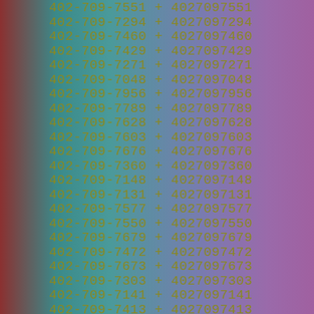402-709-7551 + 4027097551
402-709-7294 + 4027097294
402-709-7460 + 4027097460
402-709-7429 + 4027097429
402-709-7271 + 4027097271
402-709-7048 + 4027097048
402-709-7956 + 4027097956
402-709-7789 + 4027097789
402-709-7628 + 4027097628
402-709-7603 + 4027097603
402-709-7676 + 4027097676
402-709-7360 + 4027097360
402-709-7148 + 4027097148
402-709-7131 + 4027097131
402-709-7577 + 4027097577
402-709-7550 + 4027097550
402-709-7679 + 4027097679
402-709-7472 + 4027097472
402-709-7673 + 4027097673
402-709-7303 + 4027097303
402-709-7141 + 4027097141
402-709-7413 + 4027097413
402-709-7618 + 4027097618